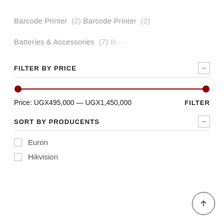Barcode Printer  (2)
Barcode Printer  (2)
Batteries & Accessories  (7)
...
FILTER BY PRICE
[Figure (other): Price range slider from UGX495,000 to UGX1,450,000 with red track and two red dot endpoints]
Price: UGX495,000 — UGX1,450,000    FILTER
SORT BY PRODUCENTS
Euron
Hikvision